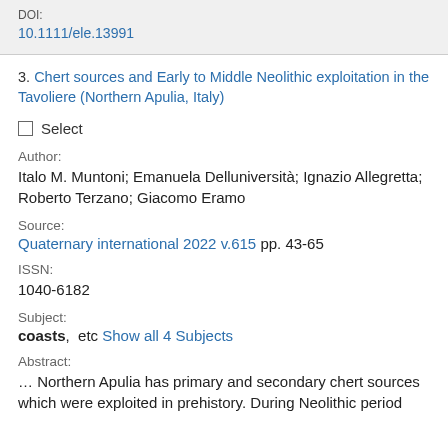DOI:
10.1111/ele.13991
3. Chert sources and Early to Middle Neolithic exploitation in the Tavoliere (Northern Apulia, Italy)
Select
Author:
Italo M. Muntoni; Emanuela Delluniversità; Ignazio Allegretta; Roberto Terzano; Giacomo Eramo
Source:
Quaternary international 2022 v.615 pp. 43-65
ISSN:
1040-6182
Subject:
coasts,  etc Show all 4 Subjects
Abstract:
… Northern Apulia has primary and secondary chert sources which were exploited in prehistory. During Neolithic period